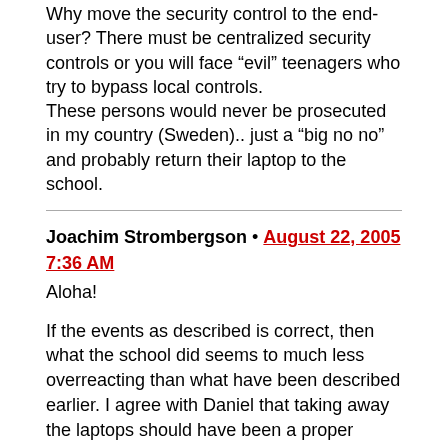Why move the security control to the end-user? There must be centralized security controls or you will face “evil” teenagers who try to bypass local controls.
These persons would never be prosecuted in my country (Sweden).. just a “big no no” and probably return their laptop to the school.
Joachim Strombergson • August 22, 2005 7:36 AM
Aloha!
If the events as described is correct, then what the school did seems to much less overreacting than what have been described earlier. I agree with Daniel that taking away the laptops should have been a proper course of action. At least after more than one offence.
But what strikes me is the irresponsible behaviour from the parents. Not stopping their kids, not realising that a signed agreement is an agreement and generally pushing parenting responsibility onto the schools. At least in Sweden, currently if you are under 15, the parent is responsible for the actions by their kids. Unfortunately, expecting the school and the